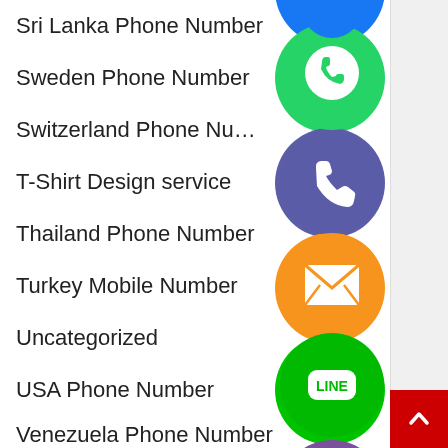Sri Lanka Phone Number
Sweden Phone Number
Switzerland Phone Number
T-Shirt Design service
Thailand Phone Number
Turkey Mobile Number
Uncategorized
USA Phone Number
Venezuela Phone Number
[Figure (illustration): Floating social media / messaging app icons: WhatsApp (green), phone (indigo/blue), email envelope (orange), LINE (green), Viber (purple), close/cancel (green), and a blue Facebook-like icon at top]